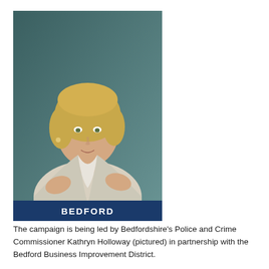[Figure (photo): Photo of a blonde woman in a light blazer gesturing with both hands, with a 'BEDFORD' label overlay at the bottom in a dark blue banner.]
The campaign is being led by Bedfordshire's Police and Crime Commissioner Kathryn Holloway (pictured) in partnership with the Bedford Business Improvement District.
She wants employers to release staff during working hours to train as Special Constables. In the PCC's Police and Crime Plan, Commissioner Holloway pledged to work closely with businesses, in particular to recruit Retail Specials to tackle